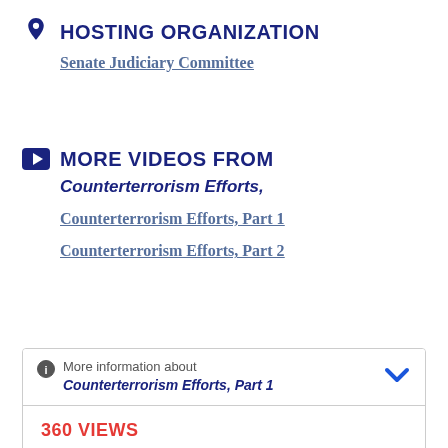HOSTING ORGANIZATION
Senate Judiciary Committee
MORE VIDEOS FROM
Counterterrorism Efforts,
Counterterrorism Efforts, Part 1
Counterterrorism Efforts, Part 2
More information about Counterterrorism Efforts, Part 1
360 VIEWS
Program ID: 170432-1
Category: Senate Committee